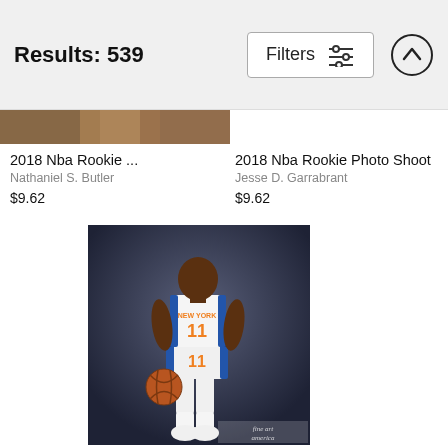Results: 539
Filters
[Figure (photo): Cropped thumbnail of a basketball player photo at top of page]
2018 Nba Rookie ...
Nathaniel S. Butler
$9.62
2018 Nba Rookie Photo Shoot
Jesse D. Garrabrant
$9.62
[Figure (photo): NBA player wearing New York Knicks #11 jersey holding a basketball, standing against dark background. Fine Art America watermark visible.]